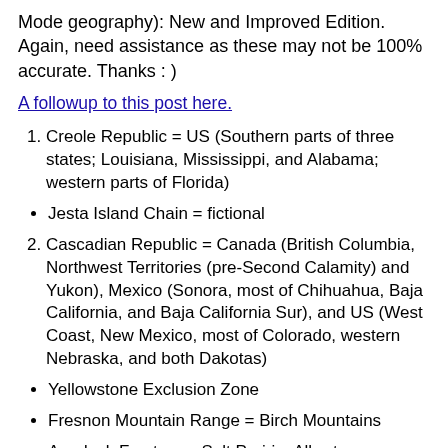Mode geography): New and Improved Edition. Again, need assistance as these may not be 100% accurate. Thanks : )
A followup to this post here.
Creole Republic = US (Southern parts of three states; Louisiana, Mississippi, and Alabama; western parts of Florida)
Jesta Island Chain = fictional
Cascadian Republic = Canada (British Columbia, Northwest Territories (pre-Second Calamity) and Yukon), Mexico (Sonora, most of Chihuahua, Baja California, and Baja California Sur), and US (West Coast, New Mexico, most of Colorado, western Nebraska, and both Dakotas)
Yellowstone Exclusion Zone
Fresnon Mountain Range = Birch Mountains
Apodock Fracture = Salt Prairie, Alberta
Briggs Range = Harmon Valley, Alberta